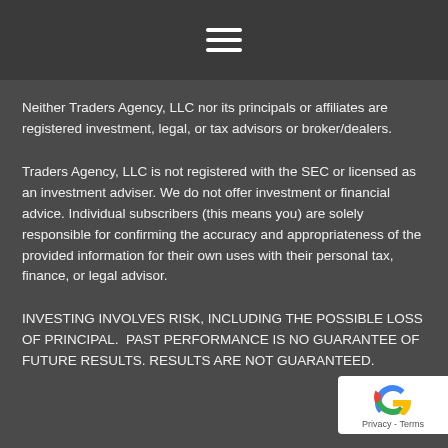Neither Traders Agency, LLC nor its principals or affiliates are registered investment, legal, or tax advisors or broker/dealers.
Traders Agency, LLC is not registered with the SEC or licensed as an investment adviser. We do not offer investment or financial advice. Individual subscribers (this means you) are solely responsible for confirming the accuracy and appropriateness of the provided information for their own uses with their personal tax, finance, or legal advisor.
INVESTING INVOLVES RISK, INCLUDING THE POSSIBLE LOSS OF PRINCIPAL. PAST PERFORMANCE IS NO GUARANTEE OF FUTURE RESULTS. RESULTS ARE NOT GUARANTEED.